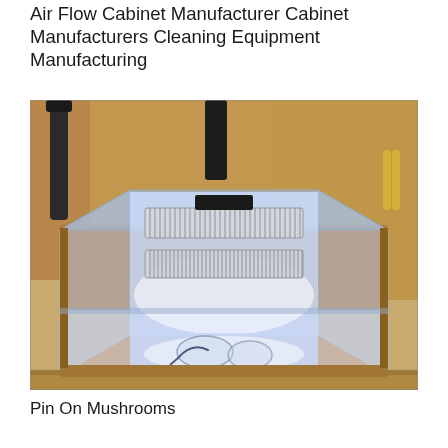Air Flow Cabinet Manufacturer Cabinet Manufacturers Cleaning Equipment Manufacturing
[Figure (photo): A laminar air flow cabinet with transparent acrylic/plastic body, illuminated with blue/white LED light inside, showing HEPA filter panels, placed on a wooden desk surface with wooden cabinet furniture visible in the background. Two petri dishes and a spreader are visible on the base of the cabinet.]
Pin On Mushrooms